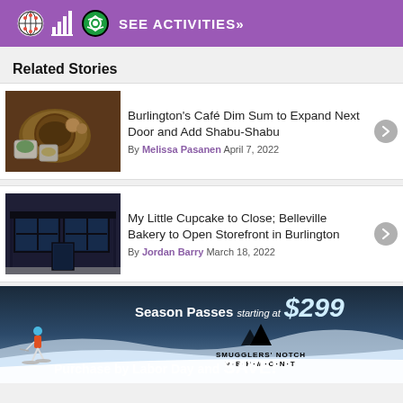[Figure (infographic): Purple banner with activity icons (soccer ball, columns, wifi/spiral) and text SEE ACTIVITIES >>]
Related Stories
[Figure (photo): Photo of dim sum dishes including fried items on a plate and bowls]
Burlington's Café Dim Sum to Expand Next Door and Add Shabu-Shabu
By Melissa Pasanen April 7, 2022
[Figure (photo): Photo of a modern bakery storefront with large glass windows and dark frame]
My Little Cupcake to Close; Belleville Bakery to Open Storefront in Burlington
By Jordan Barry March 18, 2022
[Figure (infographic): Smugglers' Notch Vermont ad: Season Passes starting at $299. Purchase by Labor Day and SAVE! Shows skier on slope.]